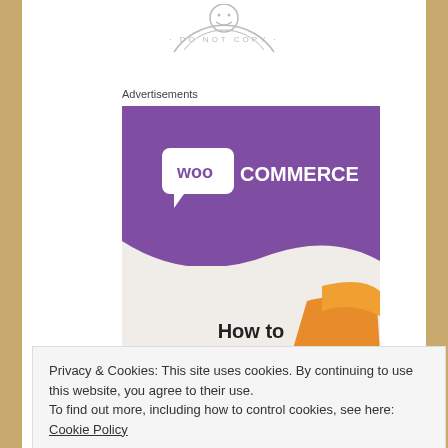[Figure (logo): DO NOT COPY circular watermark stamp at top center]
Advertisements
[Figure (illustration): WooCommerce advertisement banner with purple background showing WooCommerce logo and text 'How to' at bottom]
Privacy & Cookies: This site uses cookies. By continuing to use this website, you agree to their use.
To find out more, including how to control cookies, see here: Cookie Policy
Close and accept